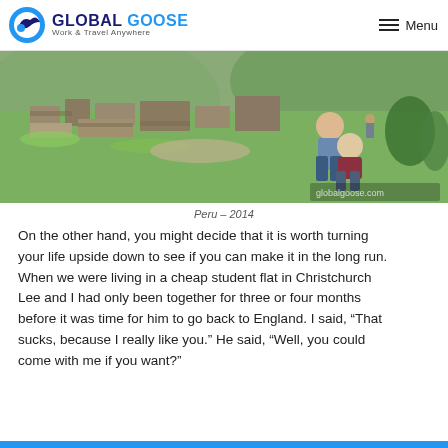GLOBAL GOOSE — Work & Travel Anywhere | Menu
[Figure (photo): Two people (a man and a woman) posing at Machu Picchu ruins in Peru, surrounded by green terraced hillsides and ancient stone structures.]
Peru – 2014
On the other hand, you might decide that it is worth turning your life upside down to see if you can make it in the long run. When we were living in a cheap student flat in Christchurch Lee and I had only been together for three or four months before it was time for him to go back to England. I said, “That sucks, because I really like you.” He said, “Well, you could come with me if you want?”